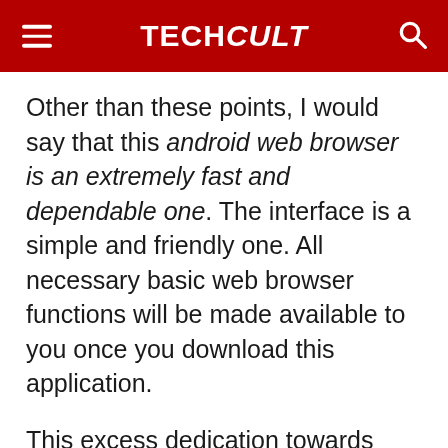TECHCult
Other than these points, I would say that this android web browser is an extremely fast and dependable one. The interface is a simple and friendly one. All necessary basic web browser functions will be made available to you once you download this application.
This excess dedication towards security might be the reason for such a high number of downloads and an impressive rating on the Play store.
It is completely free of cost too!